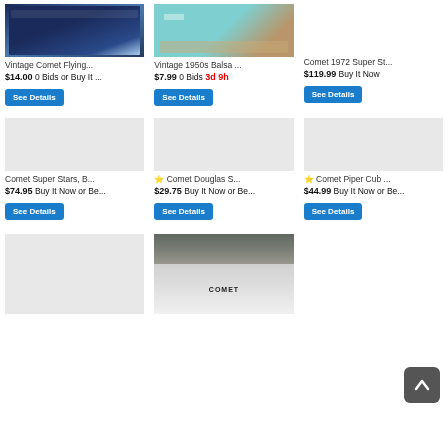[Figure (photo): Top portion of box art for vintage Comet flying model]
Vintage Comet Flying...
$14.00 0 Bids or Buy It ...
See Details
[Figure (photo): 1950s balsa model kit contents on teal background]
Vintage 1950s Balsa ...
$7.99 0 Bids 3d 9h
See Details
Comet 1972 Super St...
$119.99 Buy It Now
See Details
Comet Super Stars, B...
$74.95 Buy It Now or Be...
See Details
⭐ Comet Douglas S...
$29.75 Buy It Now or Be...
See Details
⭐ Comet Piper Cub ...
$44.99 Buy It Now or Be...
See Details
[Figure (photo): Comet model kit in packaging with aircraft art, partially visible]